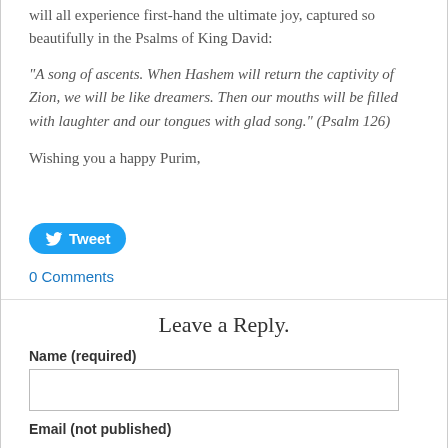will all experience first-hand the ultimate joy, captured so beautifully in the Psalms of King David:
“A song of ascents. When Hashem will return the captivity of Zion, we will be like dreamers. Then our mouths will be filled with laughter and our tongues with glad song.” (Psalm 126)
Wishing you a happy Purim,
[Figure (other): Twitter Tweet button (blue rounded rectangle with Twitter bird icon and 'Tweet' text)]
0 Comments
Leave a Reply.
Name (required)
Email (not published)